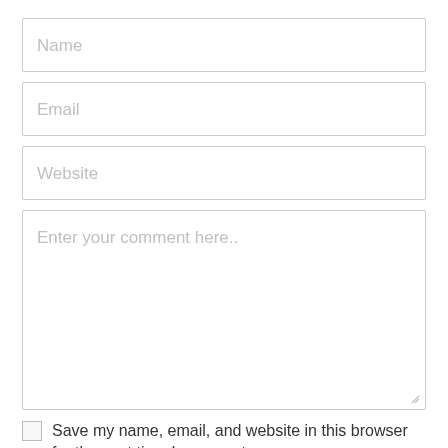Name
Email
Website
Enter your comment here..
Save my name, email, and website in this browser for the next time I comment.